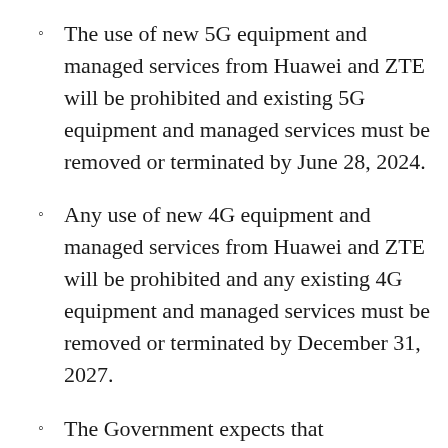The use of new 5G equipment and managed services from Huawei and ZTE will be prohibited and existing 5G equipment and managed services must be removed or terminated by June 28, 2024.
Any use of new 4G equipment and managed services from Huawei and ZTE will be prohibited and any existing 4G equipment and managed services must be removed or terminated by December 31, 2027.
The Government expects that